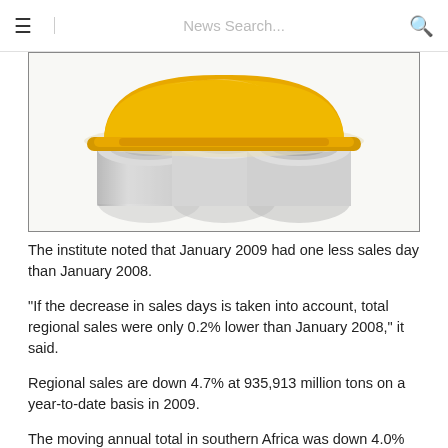≡  News Search...  🔍
[Figure (photo): Yellow construction hard hat resting on rolled architectural blueprints/plans, white background]
The institute noted that January 2009 had one less sales day than January 2008.
"If the decrease in sales days is taken into account, total regional sales were only 0.2% lower than January 2008," it said.
Regional sales are down 4.7% at 935,913 million tons on a year-to-date basis in 2009.
The moving annual total in southern Africa was down 4.0% year-on-year in January to 14.7 million tons.